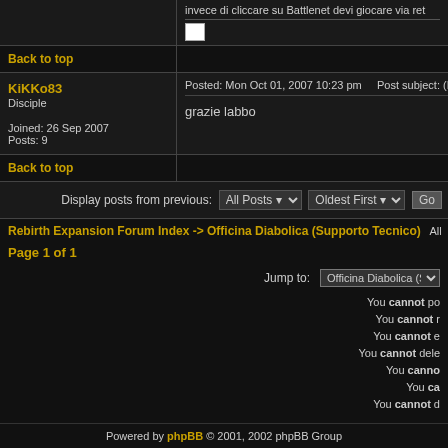invece di cliccare su Battlenet devi giocare via rete
Back to top
KiKKo83
Disciple
Joined: 26 Sep 2007
Posts: 9
Posted: Mon Oct 01, 2007 10:23 pm   Post subject: (No s
grazie labbo
Back to top
Display posts from previous: All Posts  Oldest First  Go
Rebirth Expansion Forum Index -> Officina Diabolica (Supporto Tecnico)  All
Page 1 of 1
Jump to: Officina Diabolica (Suppor
You cannot po
You cannot r
You cannot e
You cannot dele
You canno
You ca
You cannot d
Powered by phpBB © 2001, 2002 phpBB Group